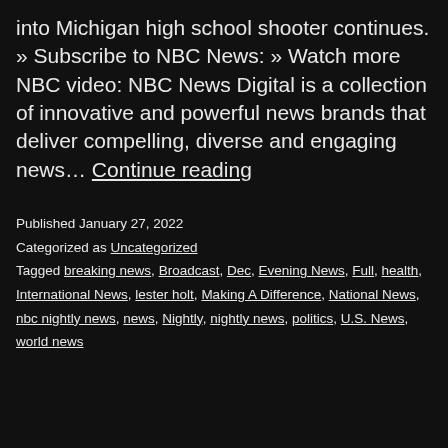into Michigan high school shooter continues. » Subscribe to NBC News: » Watch more NBC video: NBC News Digital is a collection of innovative and powerful news brands that deliver compelling, diverse and engaging news… Continue reading
Published January 27, 2022
Categorized as Uncategorized
Tagged breaking news, Broadcast, Dec, Evening News, Full, health, International News, lester holt, Making A Difference, National News, nbc nightly news, news, Nightly, nightly news, politics, U.S. News, world news